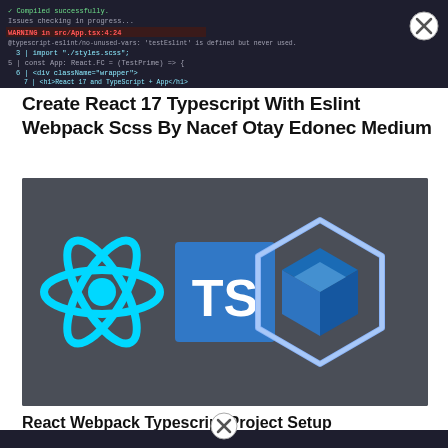[Figure (screenshot): Dark-themed code editor screenshot showing TypeScript/React code with a warning message highlighted in red/yellow, and a close (X) button overlay in the top-right corner.]
Create React 17 Typescript With Eslint Webpack Scss By Nacef Otay Edonec Medium
[Figure (illustration): Dark gray background image showing three logos side by side: React (cyan atomic symbol), TypeScript (blue square with white 'TS'), and Webpack (blue 3D hexagon/cube icon).]
React Webpack Typescript Project Setup
[Figure (screenshot): Partial screenshot of another code editor view with a close (X) button overlay, partially visible at the bottom edge of the page.]